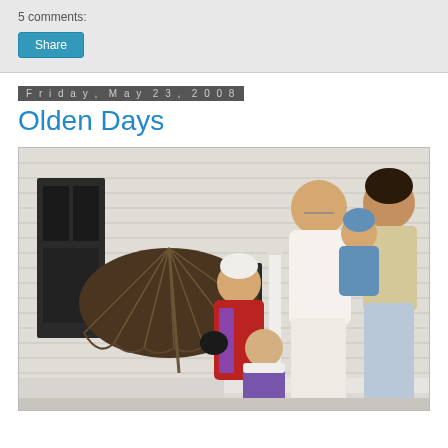5 comments:
Share
Friday, May 23, 2008
Olden Days
[Figure (photo): Family photo showing a man in white sweater and pants, a woman with short dark hair, a young toddler in blue outfit, a girl in red coat with white hat holding an umbrella, and a smaller child in purple jacket with white fur trim, posed on the front porch steps of a white clapboard house.]